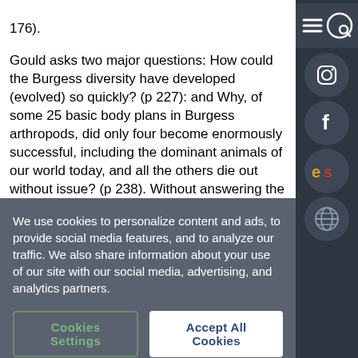176).
Gould asks two major questions: How could the Burgess diversity have developed (evolved) so quickly? (p 227): and Why, of some 25 basic body plans in Burgess arthropods, did only four become enormously successful, including the dominant animals of our world today, and all the others die out without issue? (p 238). Without answering the first question, Gould devotes major attention to the second. It is remarkable for an aggressive, deeply committed evolutionist to conclude his analysis stating:
we have no evidence that the winners
We use cookies to personalize content and ads, to provide social media features, and to analyze our traffic. We also share information about your use of our site with our social media, advertising, and analytics partners.
Cookies Settings
Accept All Cookies